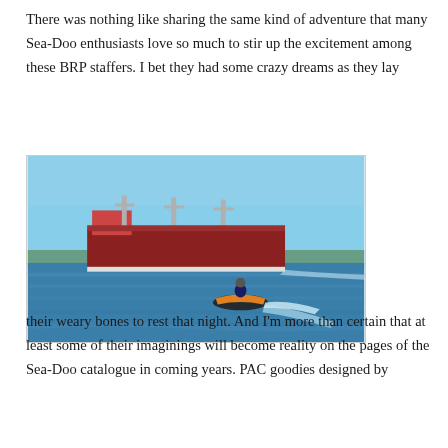There was nothing like sharing the same kind of adventure that many Sea-Doo enthusiasts love so much to stir up the excitement among these BRP staffers. I bet they had some crazy dreams as they lay
[Figure (photo): A person riding a Sea-Doo personal watercraft on open blue water, with a large red cargo ship visible in the background under a clear blue sky.]
their weary bones to rest that night. And I'm more than certain that at least some of their imaginings will become reality on the pages of the Sea-Doo catalogue in coming years. PAC goodies designed by